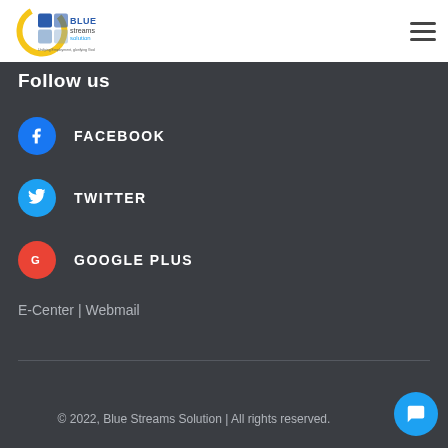[Figure (logo): Blue Streams Solution logo with colorful squares and circular icon, text 'BLUE streams solution' and tagline 'Unifying Employment, glorifying God']
Follow us
FACEBOOK
TWITTER
GOOGLE PLUS
E-Center | Webmail
© 2022, Blue Streams Solution | All rights reserved.